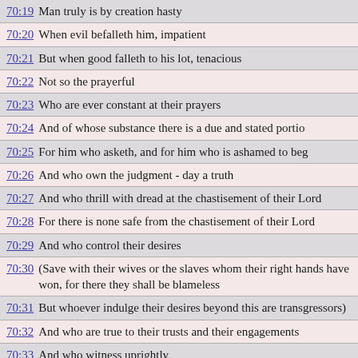70:19 Man truly is by creation hasty
70:20 When evil befalleth him, impatient
70:21 But when good falleth to his lot, tenacious
70:22 Not so the prayerful
70:23 Who are ever constant at their prayers
70:24 And of whose substance there is a due and stated portio
70:25 For him who asketh, and for him who is ashamed to beg
70:26 And who own the judgment - day a truth
70:27 And who thrill with dread at the chastisement of their Lord
70:28 For there is none safe from the chastisement of their Lord
70:29 And who control their desires
70:30 (Save with their wives or the slaves whom their right hands have won, for there they shall be blameless
70:31 But whoever indulge their desires beyond this are transgressors)
70:32 And who are true to their trusts and their engagements
70:33 And who witness uprightly